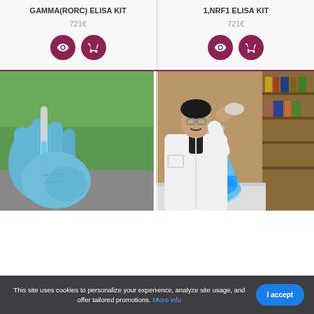GAMMA(RORC) ELISA KIT
721€
1,NRF1 ELISA KIT
721€
[Figure (photo): Close-up of gloved hands in blue nitrile gloves holding a test tube or pipette in a laboratory setting with green background]
[Figure (photo): Scientist in white lab coat and safety glasses working with a blue liquid in an Erlenmeyer flask in a laboratory]
This site uses cookies to personalize your experience, analyze site usage, and offer tailored promotions. More info
I accept